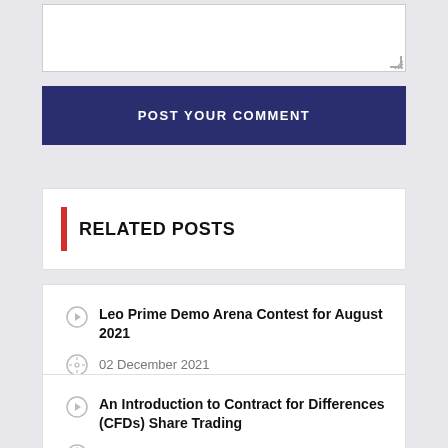[textarea placeholder]
POST YOUR COMMENT
RELATED POSTS
Leo Prime Demo Arena Contest for August 2021
02 December 2021
An Introduction to Contract for Differences (CFDs) Share Trading
29 November 2021